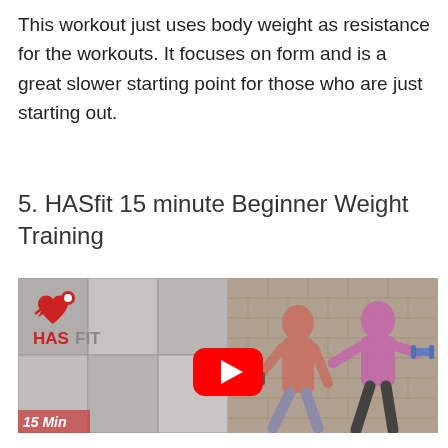This workout just uses body weight as resistance for the workouts. It focuses on form and is a great slower starting point for those who are just starting out.
5. HASfit 15 minute Beginner Weight Training
[Figure (screenshot): YouTube video thumbnail for HASfit 15 minute Beginner Weight Training. Shows a man and woman doing dumbbell exercises in front of a brick wall. HASfit logo visible on the left. A red YouTube play button is centered on the image. A '15 Min' label appears in the bottom-left corner.]